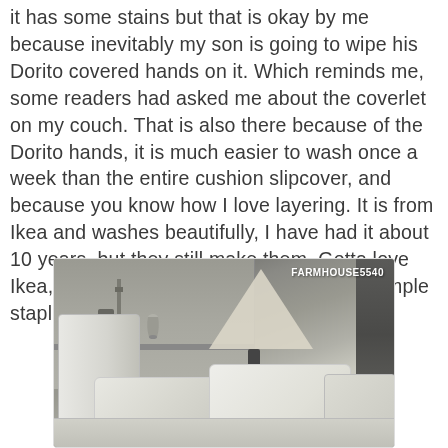it has some stains but that is okay by me because inevitably my son is going to wipe his Dorito covered hands on it. Which reminds me, some readers had asked me about the coverlet on my couch. That is also there because of the Dorito hands, it is much easier to wash once a week than the entire cushion slipcover, and because you know how I love layering. It is from Ikea and washes beautifully, I have had it about 10 years, but they still make them. Gotta love Ikea, one of the only places you can find simple staple pieces like that.
[Figure (photo): Interior room photo showing a white chair, a table lamp with a white shade and dark base, cabinet/shelving unit in the background with a vase and lantern, cream/white pillows on furniture in the foreground. Watermark reading FARMHOUSE5540 in the top right corner.]